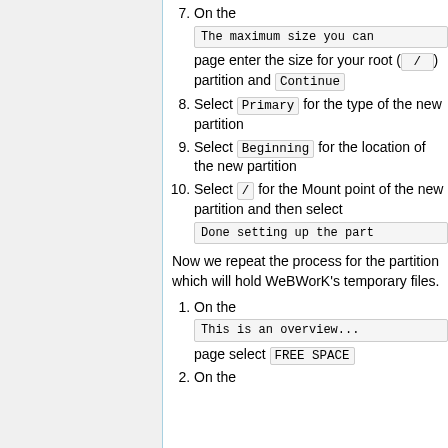7. On the [The maximum size you can] page enter the size for your root ( / ) partition and Continue
8. Select Primary for the type of the new partition
9. Select Beginning for the location of the new partition
10. Select / for the Mount point of the new partition and then select Done setting up the part
Now we repeat the process for the partition which will hold WeBWorK's temporary files.
1. On the [This is an overview...] page select FREE SPACE
2. On the